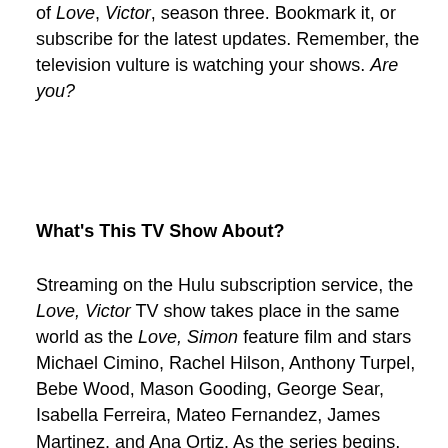of Love, Victor, season three. Bookmark it, or subscribe for the latest updates. Remember, the television vulture is watching your shows. Are you?
What's This TV Show About?
Streaming on the Hulu subscription service, the Love, Victor TV show takes place in the same world as the Love, Simon feature film and stars Michael Cimino, Rachel Hilson, Anthony Turpel, Bebe Wood, Mason Gooding, George Sear, Isabella Ferreira, Mateo Fernandez, James Martinez, and Ana Ortiz. As the series begins, the Salazar family — blue-collar father Armando (Martinez), mother Isabel (Ortiz), Victor (Cimino), little brother Adrian (Fernandez), and younger sister Pilar (Ferreira) — has relocated to Atlanta from Texas. Despite feeling out of place at high school, Victor makes friends with classmates like his awkward neighbor, Felix Westen (Turpel),